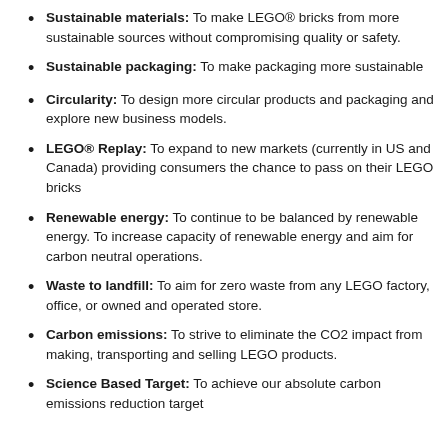Sustainable materials: To make LEGO® bricks from more sustainable sources without compromising quality or safety.
Sustainable packaging: To make packaging more sustainable
Circularity: To design more circular products and packaging and explore new business models.
LEGO® Replay: To expand to new markets (currently in US and Canada) providing consumers the chance to pass on their LEGO bricks
Renewable energy: To continue to be balanced by renewable energy. To increase capacity of renewable energy and aim for carbon neutral operations.
Waste to landfill: To aim for zero waste from any LEGO factory, office, or owned and operated store.
Carbon emissions: To strive to eliminate the CO2 impact from making, transporting and selling LEGO products.
Science Based Target: To achieve our absolute carbon emissions reduction target